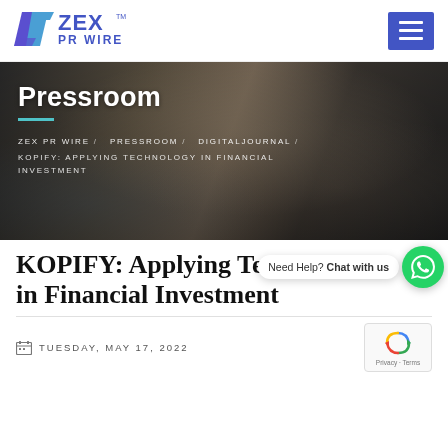ZEX PR WIRE
[Figure (logo): ZEX PR WIRE logo with stylized Z/X graphic in blue and purple, with TM mark]
[Figure (photo): Dark background hero image showing people working at a table with documents and papers, overlaid with 'Pressroom' heading]
Pressroom
ZEX PR WIRE / PRESSROOM / DIGITALJOURNAL / KOPIFY: APPLYING TECHNOLOGY IN FINANCIAL INVESTMENT
KOPIFY: Applying Technology in Financial Investment
Need Help? Chat with us
TUESDAY, MAY 17, 2022